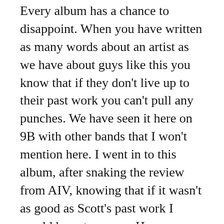Every album has a chance to disappoint. When you have written as many words about an artist as we have about guys like this you know that if they don't live up to their past work you can't pull any punches. We have seen it here on 9B with other bands that I won't mention here. I went in to this album, after snaking the review from AIV, knowing that if it wasn't as good as Scott's past work I would have to say so. However that is not the case. Bad Ingredients lives up to every white-trash/punk/blues/rock 'n' roll expectation any reasonable person could possibly have! It is great from start to finish.
This is album number number eight for the venerable Hiram Biram and he's still proving